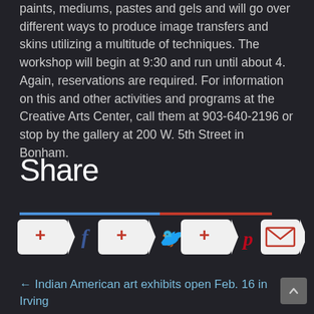paints, mediums, pastes and gels and will go over different ways to produce image transfers and skins utilizing a multitude of techniques. The workshop will begin at 9:30 and run until about 4. Again, reservations are required. For information on this and other activities and programs at the Creative Arts Center, call them at 903-640-2196 or stop by the gallery at 200 W. 5th Street in Bonham.
Share
[Figure (infographic): Decorative horizontal divider line: left half blue, right half red]
[Figure (infographic): Social share buttons row: Facebook share button (+ with Facebook icon), Twitter share button (+ with Twitter bird icon), Pinterest share button (+ with Pinterest icon), Email share button (envelope icon)]
← Indian American art exhibits open Feb. 16 in Irving